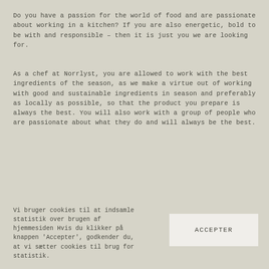Do you have a passion for the world of food and are passionate about working in a kitchen? If you are also energetic, bold to be with and responsible – then it is just you we are looking for.
As a chef at Norrlyst, you are allowed to work with the best ingredients of the season, as we make a virtue out of working with good and sustainable ingredients in season and preferably as locally as possible, so that the product you prepare is always the best. You will also work with a group of people who are passionate about what they do and will always be the best.
Vi bruger cookies til at indsamle statistik over brugen af hjemmesiden Hvis du klikker på knappen 'Accepter', godkender du, at vi sætter cookies til brug for statistik.
ACCEPTER